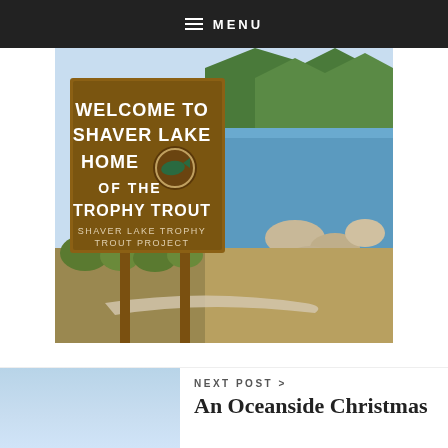MENU
[Figure (photo): Outdoor photo of a wooden welcome sign reading 'WELCOME TO SHAVER LAKE HOME OF THE TROPHY TROUT SHAVER LAKE TROPHY TROUT PROJECT' with a lake and mountains in the background, rocky shoreline visible.]
Shaver Lake Weekend
NEXT POST >
An Oceanside Christmas